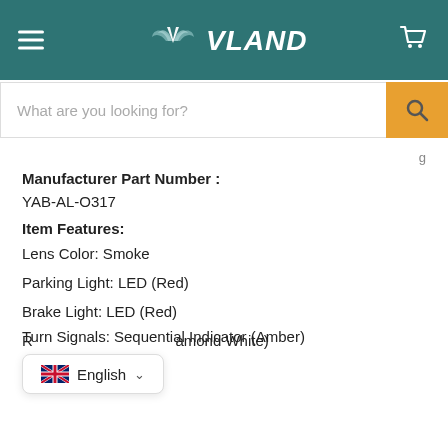[Figure (logo): VLAND logo with stylized wing emblem in silver/teal on dark teal header bar]
What are you looking for?
Manufacturer Part Number :
YAB-AL-O317
Item Features:
Lens Color: Smoke
Parking Light: LED (Red)
Brake Light: LED (Red)
R... (Diamond White)
Turn Signals: Sequential Indicator (Amber)
[Figure (screenshot): Language selector popup showing UK flag and 'English' with dropdown chevron]